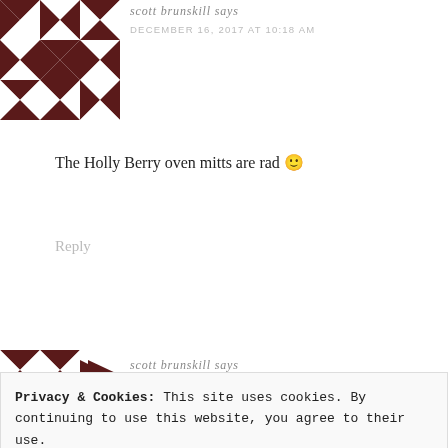[Figure (illustration): Geometric quilt-pattern avatar in dark brown and white, featuring triangles and star shapes in a 3x3 grid pattern]
scott brunskill says
DECEMBER 16, 2017 AT 10:18 AM
The Holly Berry oven mitts are rad 🙂
Reply
[Figure (illustration): Partial geometric quilt-pattern avatar in dark brown, showing bottom portion with triangles]
scott brunskill says
Privacy & Cookies: This site uses cookies. By continuing to use this website, you agree to their use.
To find out more, including how to control cookies, see here:
Cookie Policy
Close and accept
CRUISE MY FAMILY GAVE ME FOR MY 50TH